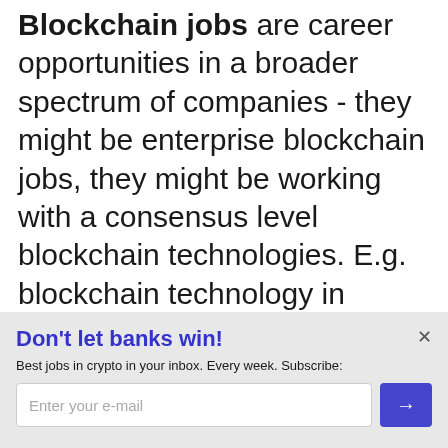Blockchain jobs are career opportunities in a broader spectrum of companies - they might be enterprise blockchain jobs, they might be working with a consensus level blockchain technologies. E.g. blockchain technology in supply chain industry is rather different from blockchain applications in cryptocurrency industry. There might be quite a bit of overlap
Don't let banks win!
Best jobs in crypto in your inbox. Every week. Subscribe: